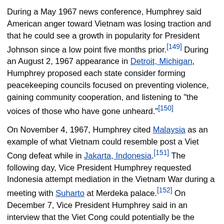During a May 1967 news conference, Humphrey said American anger toward Vietnam was losing traction and that he could see a growth in popularity for President Johnson since a low point five months prior.[149] During an August 2, 1967 appearance in Detroit, Michigan, Humphrey proposed each state consider forming peacekeeping councils focused on preventing violence, gaining community cooperation, and listening to "the voices of those who have gone unheard."[150]
On November 4, 1967, Humphrey cited Malaysia as an example of what Vietnam could resemble post a Viet Cong defeat while in Jakarta, Indonesia.[151] The following day, Vice President Humphrey requested Indonesia attempt mediation in the Vietnam War during a meeting with Suharto at Merdeka palace.[152] On December 7, Vice President Humphrey said in an interview that the Viet Cong could potentially be the factor in creating a political compromise with the government of Saigon.[153]
Civil rights
In February 1965, President Johnson appointed Humphrey to the chairmanship of the President's Council on Equal Opportunity.[154] The position enabled Humphrey...